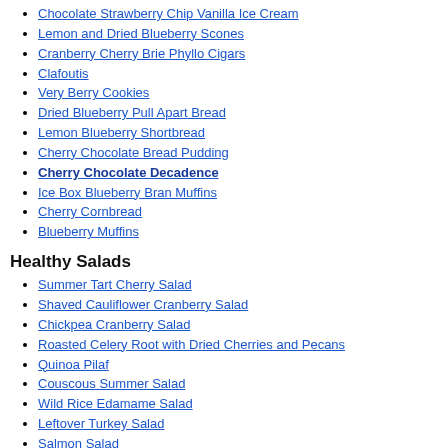Chocolate Strawberry Chip Vanilla Ice Cream
Lemon and Dried Blueberry Scones
Cranberry Cherry Brie Phyllo Cigars
Clafoutis
Very Berry Cookies
Dried Blueberry Pull Apart Bread
Lemon Blueberry Shortbread
Cherry Chocolate Bread Pudding
Cherry Chocolate Decadence
Ice Box Blueberry Bran Muffins
Cherry Cornbread
Blueberry Muffins
Healthy Salads
Summer Tart Cherry Salad
Shaved Cauliflower Cranberry Salad
Chickpea Cranberry Salad
Roasted Celery Root with Dried Cherries and Pecans
Quinoa Pilaf
Couscous Summer Salad
Wild Rice Edamame Salad
Leftover Turkey Salad
Salmon Salad
Corn Salad